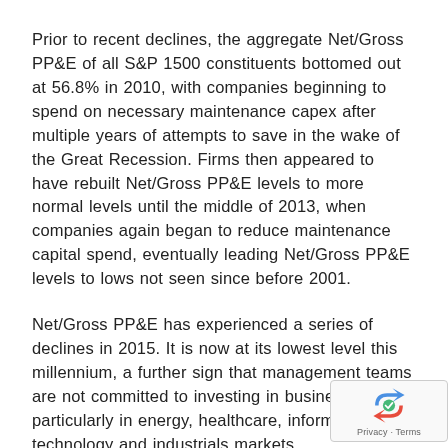Prior to recent declines, the aggregate Net/Gross PP&E of all S&P 1500 constituents bottomed out at 56.8% in 2010, with companies beginning to spend on necessary maintenance capex after multiple years of attempts to save in the wake of the Great Recession. Firms then appeared to have rebuilt Net/Gross PP&E levels to more normal levels until the middle of 2013, when companies again began to reduce maintenance capital spend, eventually leading Net/Gross PP&E levels to lows not seen since before 2001.
Net/Gross PP&E has experienced a series of declines in 2015. It is now at its lowest level this millennium, a further sign that management teams are not committed to investing in business growth, particularly in energy, healthcare, information technology and industrials markets.